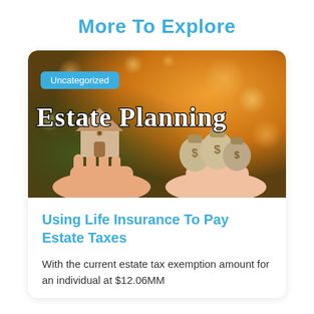More To Explore
[Figure (illustration): Estate Planning article card image showing two hands: one holding a small wooden house model, the other holding money bags with dollar signs, against a warm bokeh background. A cyan 'Uncategorized' badge overlays the top-left. Large white serif text 'Estate Planning' overlays the image.]
Using Life Insurance To Pay Estate Taxes
With the current estate tax exemption amount for an individual at $12.06MM